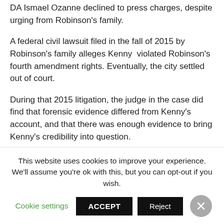DA Ismael Ozanne declined to press charges, despite urging from Robinson's family.
A federal civil lawsuit filed in the fall of 2015 by Robinson's family alleges Kenny violated Robinson's fourth amendment rights. Eventually, the city settled out of court.
During that 2015 litigation, the judge in the case did find that forensic evidence differed from Kenny's account, and that there was enough evidence to bring Kenny's credibility into question.
Irwin, who was not a part of the settlement and received no money, says that all she has wanted is justice for her grandson.
This website uses cookies to improve your experience. We'll assume you're ok with this, but you can opt-out if you wish. Cookie settings ACCEPT Reject